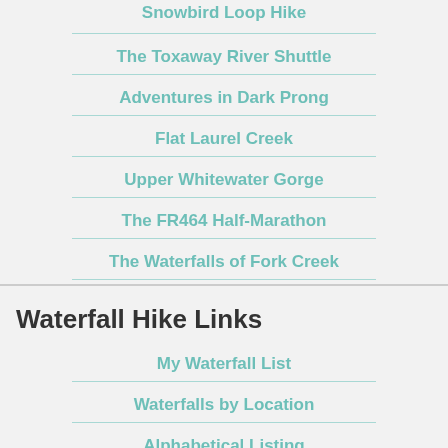Snowbird Loop Hike
The Toxaway River Shuttle
Adventures in Dark Prong
Flat Laurel Creek
Upper Whitewater Gorge
The FR464 Half-Marathon
The Waterfalls of Fork Creek
Waterfall Hike Links
My Waterfall List
Waterfalls by Location
Alphabetical Listing